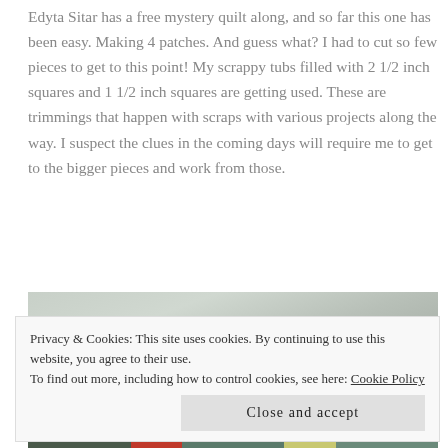Edyta Sitar has a free mystery quilt along, and so far this one has been easy. Making 4 patches. And guess what? I had to cut so few pieces to get to this point! My scrappy tubs filled with 2 1/2 inch squares and 1 1/2 inch squares are getting used. These are trimmings that happen with scraps with various projects along the way. I suspect the clues in the coming days will require me to get to the bigger pieces and work from those.
[Figure (photo): A partial photo showing fabric pieces and quilting materials, with the top portion showing a light gray/white surface and the bottom portion showing colorful fabric strips in green, red, and teal patterns.]
Privacy & Cookies: This site uses cookies. By continuing to use this website, you agree to their use.
To find out more, including how to control cookies, see here: Cookie Policy

Close and accept